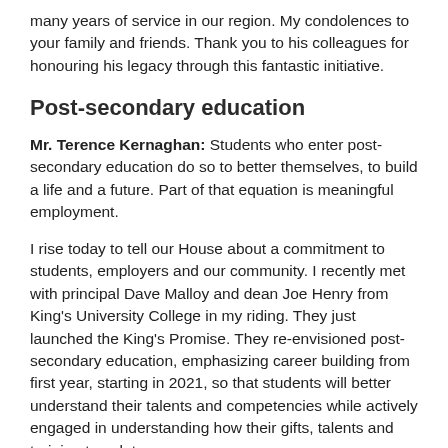many years of service in our region. My condolences to your family and friends. Thank you to his colleagues for honouring his legacy through this fantastic initiative.
Post-secondary education
Mr. Terence Kernaghan: Students who enter post-secondary education do so to better themselves, to build a life and a future. Part of that equation is meaningful employment.
I rise today to tell our House about a commitment to students, employers and our community. I recently met with principal Dave Malloy and dean Joe Henry from King's University College in my riding. They just launched the King's Promise. They re-envisioned post-secondary education, emphasizing career building from first year, starting in 2021, so that students will better understand their talents and competencies while actively engaged in understanding how their gifts, talents and training translate